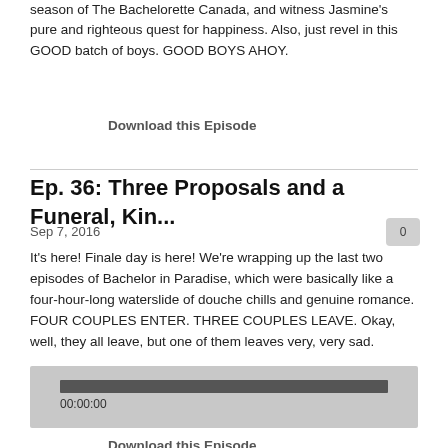season of The Bachelorette Canada, and witness Jasmine's pure and righteous quest for happiness. Also, just revel in this GOOD batch of boys. GOOD BOYS AHOY.
Download this Episode
Ep. 36: Three Proposals and a Funeral, Kin...
Sep 7, 2016
It's here! Finale day is here! We're wrapping up the last two episodes of Bachelor in Paradise, which were basically like a four-hour-long waterslide of douche chills and genuine romance. FOUR COUPLES ENTER. THREE COUPLES LEAVE. Okay, well, they all leave, but one of them leaves very, very sad.
[Figure (other): Audio player bar showing 00:00:00 timestamp]
Download this Episode